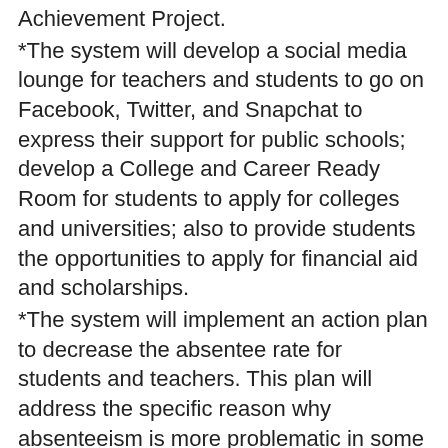Achievement Project.
*The system will develop a social media lounge for teachers and students to go on Facebook, Twitter, and Snapchat to express their support for public schools; develop a College and Career Ready Room for students to apply for colleges and universities; also to provide students the opportunities to apply for financial aid and scholarships.
*The system will implement an action plan to decrease the absentee rate for students and teachers. This plan will address the specific reason why absenteeism is more problematic in some schools versus others.
*The system will pursue T-Mobile to give hotspots to students who do not have internet access at home.
*Congratulations to Robert Brown Middle